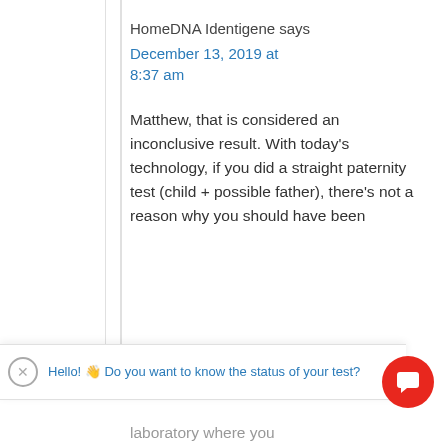HomeDNA Identigene says
December 13, 2019 at 8:37 am
Matthew, that is considered an inconclusive result. With today's technology, if you did a straight paternity test (child + possible father), there's not a reason why you should have been
Hello! 👋 Do you want to know the status of your test?
laboratory where you